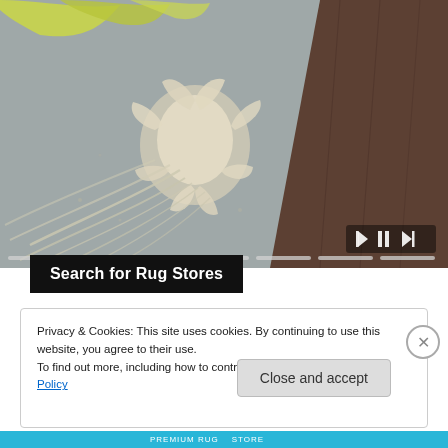[Figure (photo): Close-up photograph of a textured gray and cream floral patterned rug on dark wood floor, with yellow-green accent color visible at top edge. Slide show controls (rewind, pause, fast-forward) visible at bottom right. Progress indicator bars at bottom.]
Search for Rug Stores
Privacy & Cookies: This site uses cookies. By continuing to use this website, you agree to their use.
To find out more, including how to control cookies, see here: Cookie Policy
Close and accept